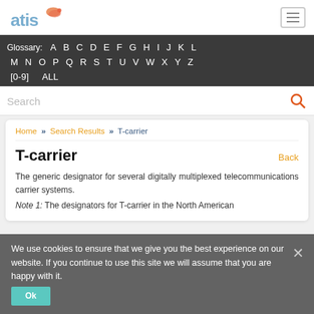[Figure (logo): ATIS logo with stylized shrimp/swoosh graphic in orange, text 'atis' in blue-grey]
Glossary: A B C D E F G H I J K L M N O P Q R S T U V W X Y Z [0-9] ALL
Search
Home >> Search Results >> T-carrier
T-carrier
Back
The generic designator for several digitally multiplexed telecommunications carrier systems.
Note 1: The designators for T-carrier in the North American
We use cookies to ensure that we give you the best experience on our website. If you continue to use this site we will assume that you are happy with it.